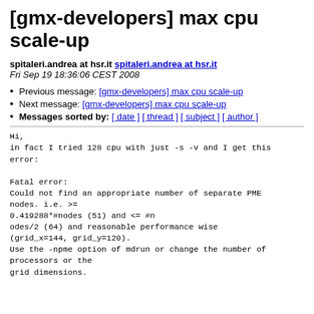[gmx-developers] max cpu scale-up
spitaleri.andrea at hsr.it spitaleri.andrea at hsr.it
Fri Sep 19 18:36:06 CEST 2008
Previous message: [gmx-developers] max cpu scale-up
Next message: [gmx-developers] max cpu scale-up
Messages sorted by: [ date ] [ thread ] [ subject ] [ author ]
Hi,
in fact I tried 128 cpu with just -s -v and I get this error:

Fatal error:
Could not find an appropriate number of separate PME nodes. i.e. >=
0.419288*#nodes (51) and <= #n
odes/2 (64) and reasonable performance wise
(grid_x=144, grid_y=120).
Use the -npme option of mdrun or change the number of processors or the
grid dimensions.